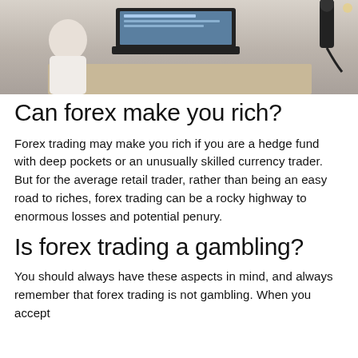[Figure (photo): A person (woman in white top) sitting at a desk with a laptop open, microphone visible, working or recording]
Can forex make you rich?
Forex trading may make you rich if you are a hedge fund with deep pockets or an unusually skilled currency trader. But for the average retail trader, rather than being an easy road to riches, forex trading can be a rocky highway to enormous losses and potential penury.
Is forex trading a gambling?
You should always have these aspects in mind, and always remember that forex trading is not gambling. When you accept